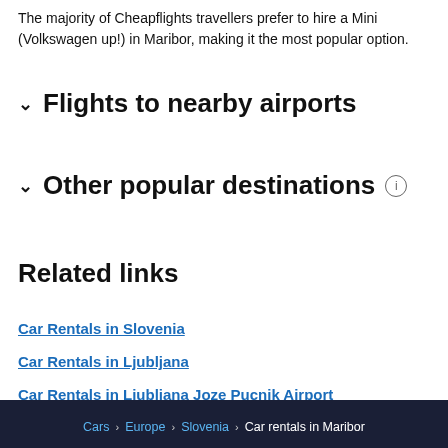The majority of Cheapflights travellers prefer to hire a Mini (Volkswagen up!) in Maribor, making it the most popular option.
Flights to nearby airports
Other popular destinations
Related links
Car Rentals in Slovenia
Car Rentals in Ljubljana
Car Rentals in Ljubljana Joze Pucnik Airport
Cars > Europe > Slovenia > Car rentals in Maribor